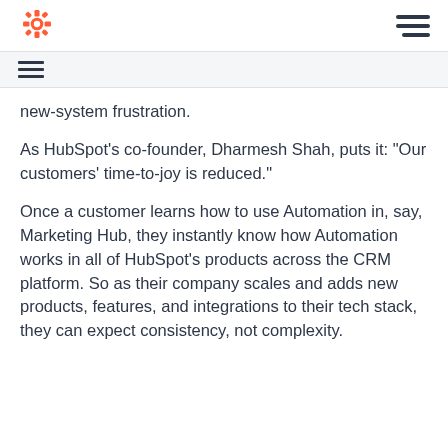HubSpot logo and navigation menu
new-system frustration.
As HubSpot's co-founder, Dharmesh Shah, puts it: "Our customers' time-to-joy is reduced."
Once a customer learns how to use Automation in, say, Marketing Hub, they instantly know how Automation works in all of HubSpot's products across the CRM platform. So as their company scales and adds new products, features, and integrations to their tech stack, they can expect consistency, not complexity.